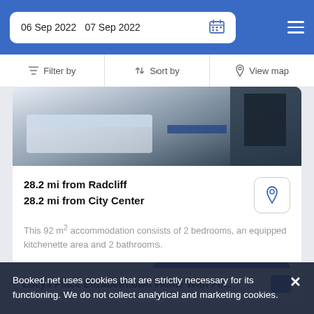06 Sep 2022  07 Sep 2022
Filter by  Sort by  View map
[Figure (photo): Partial view of a hotel/accommodation room interior showing a bed and furniture]
28.2 mi from Radcliff
28.2 mi from City Center
This 92 m² accommodation consists of 2 bedrooms, an equipped kitchenette area and 2 bathrooms.
SELECT
Lucys Place Elizabethtown Home With Fir...
Booked.net uses cookies that are strictly necessary for its functioning. We do not collect analytical and marketing cookies.